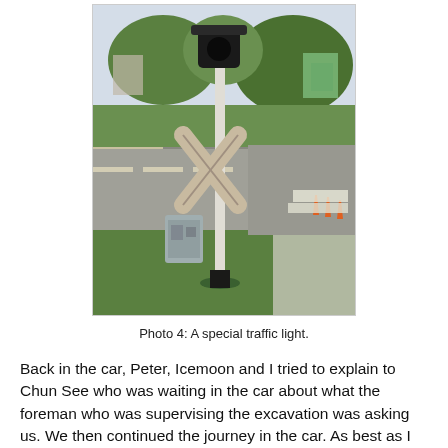[Figure (photo): Photograph of an old railway level crossing signal/traffic light on a grass verge beside a road in Singapore. The signal post has a crossbuck X-shaped sign and a signal head on top. There is construction equipment and orange traffic cones visible in the background.]
Photo 4: A special traffic light.
Back in the car, Peter, Icemoon and I tried to explain to Chun See who was waiting in the car about what the foreman who was supervising the excavation was asking us. We then continued the journey in the car. As best as I can remember,